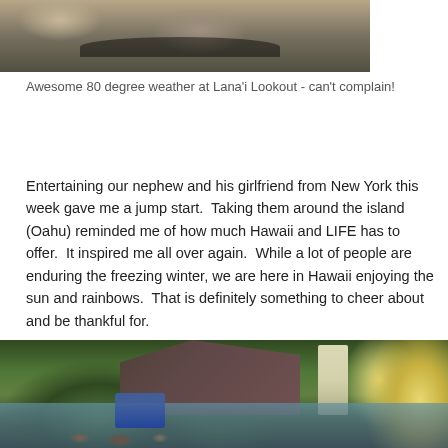[Figure (photo): Outdoor scene at Lana'i Lookout showing sandy/rocky ground with shadows, cropped at top]
Awesome 80 degree weather at Lana'i Lookout - can't complain!
Entertaining our nephew and his girlfriend from New York this week gave me a jump start.  Taking them around the island (Oahu) reminded me of how much Hawaii and LIFE has to offer.  It inspired me all over again.  While a lot of people are enduring the freezing winter, we are here in Hawaii enjoying the sun and rainbows.  That is definitely something to cheer about and be thankful for.
[Figure (photo): Tropical waterfall scene with two people standing at edge of a pool, surrounded by lush green vegetation and rocky cliffs]